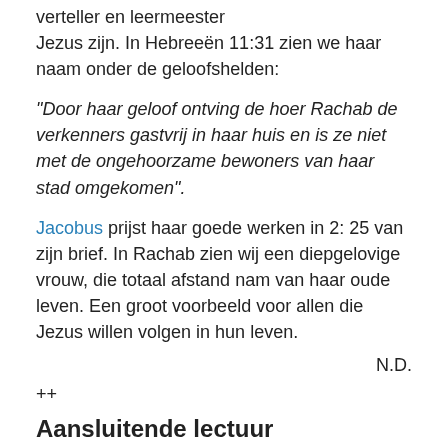verteller en leermeester
Jezus zijn. In Hebreeën 11:31 zien we haar naam onder de geloofshelden:
“Door haar geloof ontving de hoer Rachab de verkenners gastvrij in haar huis en is ze niet met de ongehoorzame bewoners van haar stad omgekomen”.
Jacobus prijst haar goede werken in 2: 25 van zijn brief. In Rachab zien wij een diepgelovige vrouw, die totaal afstand nam van haar oude leven. Een groot voorbeeld voor allen die Jezus willen volgen in hun leven.
N.D.
++
Aansluitende lectuur